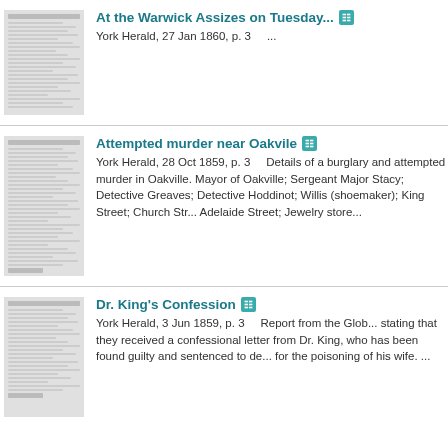[Figure (photo): Thumbnail of newspaper page from York Herald, 27 Jan 1860]
At the Warwick Assizes on Tuesday...
York Herald, 27 Jan 1860, p. 3    ...
[Figure (photo): Thumbnail of newspaper page from York Herald, 28 Oct 1859]
Attempted murder near Oakvile
York Herald, 28 Oct 1859, p. 3    Details of a burglary and attempted murder in Oakville. Mayor of Oakville; Sergeant Major Stacy; Detective Greaves; Detective Hoddinot; Willis (shoemaker); King Street; Church Str... Adelaide Street; Jewelry store...
[Figure (photo): Thumbnail of newspaper page from York Herald, 3 Jun 1859]
Dr. King's Confession
York Herald, 3 Jun 1859, p. 3    Report from the Glob... stating that they received a confessional letter from Dr. King, who has been found guilty and sentenced to de... for the poisoning of his wife. ...